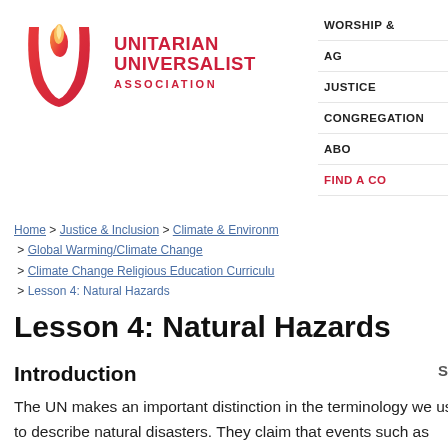[Figure (logo): Unitarian Universalist Association logo with flame and chalice icon in red-orange gradient, with text UNITARIAN UNIVERSALIST ASSOCIATION]
WORSHIP &
AG
JUSTICE
CONGREGATION
ABO
FIND A CO
Home > Justice & Inclusion > Climate & Environ > Global Warming/Climate Change > Climate Change Religious Education Curriculu > Lesson 4: Natural Hazards
Lesson 4: Natural Hazards
Introduction
The UN makes an important distinction in the terminology we use to describe natural disasters. They claim that events such as hurricanes, volcanic eruptions, and